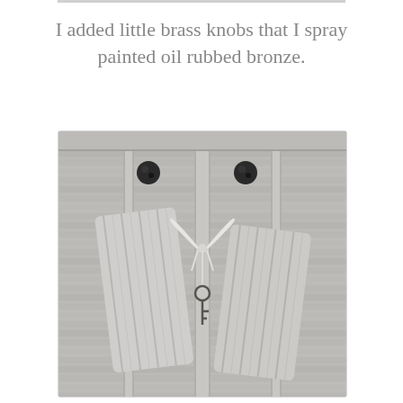I added little brass knobs that I spray painted oil rubbed bronze.
[Figure (photo): Close-up photo of a painted grey louvered cabinet or dresser with two dark oil-rubbed bronze knobs visible at the top. A striped fabric towel or cloth is tied around the center divider post with a white string bow, and a vintage-style key hangs from the bow.]